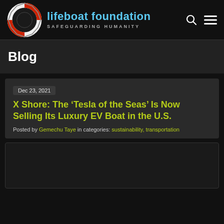[Figure (logo): Lifeboat Foundation logo with lifesaver ring icon and text 'lifeboat foundation SAFEGUARDING HUMANITY']
Blog
Dec 23, 2021
X Shore: The ‘Tesla of the Seas’ Is Now Selling Its Luxury EV Boat in the U.S.
Posted by Gemechu Taye in categories: sustainability, transportation
[Figure (photo): Dark image placeholder at bottom of page]